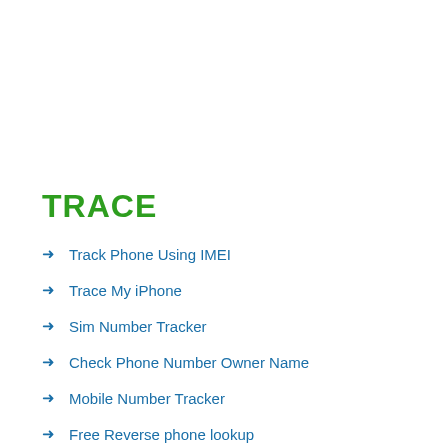TRACE
Track Phone Using IMEI
Trace My iPhone
Sim Number Tracker
Check Phone Number Owner Name
Mobile Number Tracker
Free Reverse phone lookup